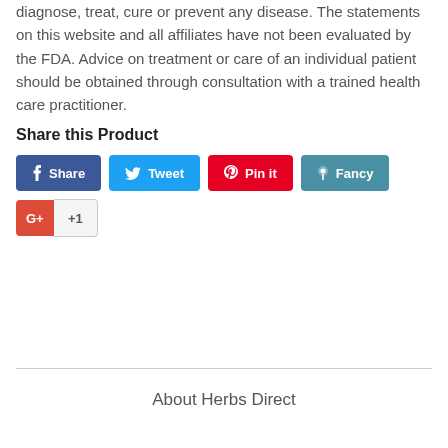diagnose, treat, cure or prevent any disease. The statements on this website and all affiliates have not been evaluated by the FDA. Advice on treatment or care of an individual patient should be obtained through consultation with a trained health care practitioner.
Share this Product
[Figure (other): Social sharing buttons: Share (Facebook, blue), Tweet (Twitter, light blue), Pin it (Pinterest, red), Fancy (teal), Google+ +1 button]
About Herbs Direct